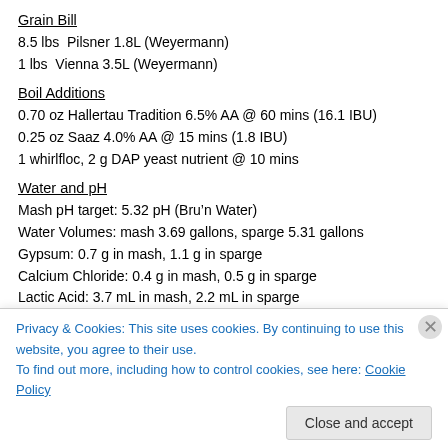Grain Bill
8.5 lbs  Pilsner 1.8L (Weyermann)
1 lbs  Vienna 3.5L (Weyermann)
Boil Additions
0.70 oz Hallertau Tradition 6.5% AA @ 60 mins (16.1 IBU)
0.25 oz Saaz 4.0% AA @ 15 mins (1.8 IBU)
1 whirlfloc, 2 g DAP yeast nutrient @ 10 mins
Water and pH
Mash pH target: 5.32 pH (Bru’n Water)
Water Volumes: mash 3.69 gallons, sparge 5.31 gallons
Gypsum: 0.7 g in mash, 1.1 g in sparge
Calcium Chloride: 0.4 g in mash, 0.5 g in sparge
Lactic Acid: 3.7 mL in mash, 2.2 mL in sparge
Water Profile: Ca = 54.2 ppm, Mg = 9 ppm, Na = 15 ppm, SO4 = 56.9 ppm,
Privacy & Cookies: This site uses cookies. By continuing to use this website, you agree to their use.
To find out more, including how to control cookies, see here: Cookie Policy
Close and accept